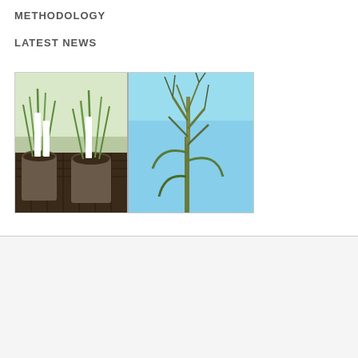METHODOLOGY
LATEST NEWS
[Figure (photo): Two plant photos side by side: left shows potted grass seedlings in pots with plant labels in a greenhouse tray; right shows close-up of a wheat/grass seed head against blue sky]
[Figure (infographic): Social media icons row: Twitter (blue bird), Facebook (blue circle with F), Instagram (rounded square camera outline), LinkedIn (blue square with 'in')]
Join
[Figure (other): Back to top arrow button (chevron up) in light grey rounded square]